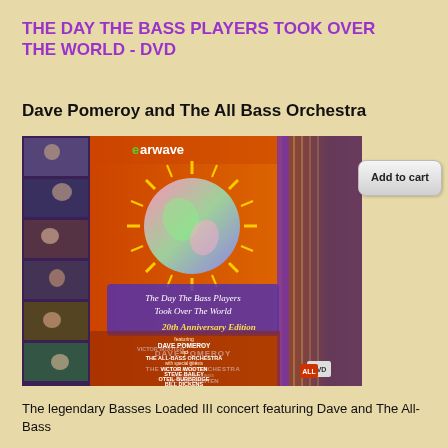THE DAY THE BASS PLAYERS TOOK OVER THE WORLD - DVD
Dave Pomeroy and The All Bass Orchestra
[Figure (photo): DVD cover for 'The Day The Bass Players Took Over The World' - 20th Anniversary Edition. Features earwave logo, a globe with sun rays design, text listing Dave Pomeroy and The All-Bass Orchestra with special guests Victor Wooten, Steve Bailey, Oteil Burbridge, Bill Dickens. Also features Bob Babbitt and Duane Eddy. Background shows concert photos and guitar imagery.]
Add to cart
The legendary Basses Loaded III concert featuring Dave and The All-Bass